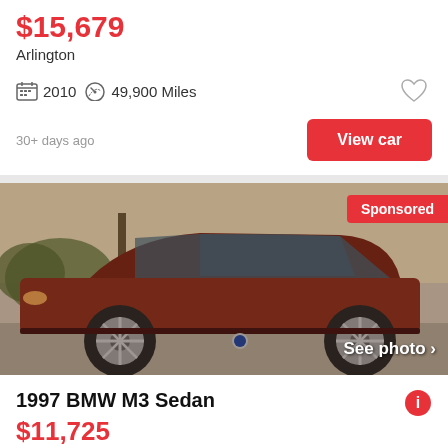$15,679
Arlington
2010  49,900 Miles
30+ days ago
View car
[Figure (photo): Red/brown BMW M3 sedan side view in outdoor parking lot, covered in dust/dirt, silver alloy wheels]
Sponsored
See photo >
1997 BMW M3 Sedan
$11,725
Lafayette
1997  100,000 Mi...